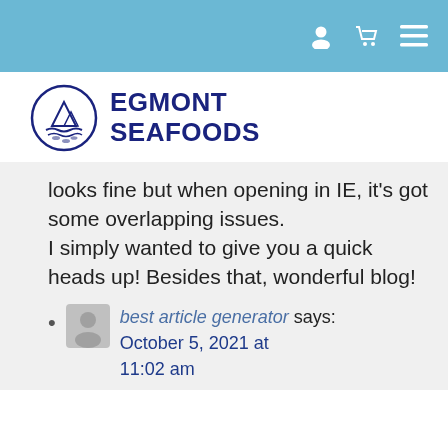Navigation bar with user, cart, and menu icons
[Figure (logo): Egmont Seafoods logo — circular emblem with fish and waves, dark navy blue text reading EGMONT SEAFOODS]
looks fine but when opening in IE, it's got some overlapping issues. I simply wanted to give you a quick heads up! Besides that, wonderful blog!
best article generator says: October 5, 2021 at 11:02 am